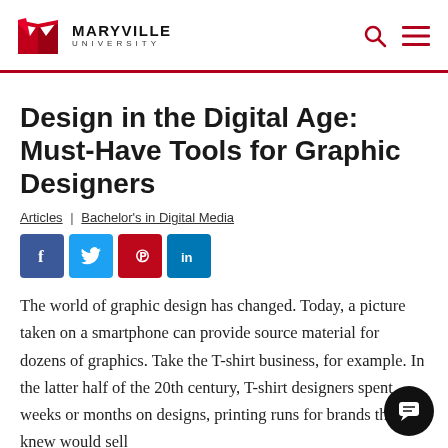[Figure (logo): Maryville University logo — red M icon with MARYVILLE UNIVERSITY text]
Design in the Digital Age: Must-Have Tools for Graphic Designers
Articles | Bachelor's in Digital Media
[Figure (infographic): Social media share buttons: Facebook, Twitter, Pinterest, LinkedIn]
The world of graphic design has changed. Today, a picture taken on a smartphone can provide source material for dozens of graphics. Take the T-shirt business, for example. In the latter half of the 20th century, T-shirt designers spent weeks or months on designs, printing runs for brands they knew would sell